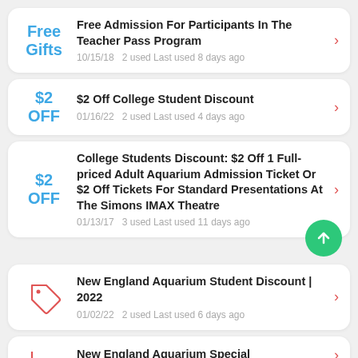Free Gifts | Free Admission For Participants In The Teacher Pass Program | 10/15/18  2 used Last used 8 days ago
$2 OFF | $2 Off College Student Discount | 01/16/22  2 used Last used 4 days ago
$2 OFF | College Students Discount: $2 Off 1 Full-priced Adult Aquarium Admission Ticket Or $2 Off Tickets For Standard Presentations At The Simons IMAX Theatre | 01/13/17  3 used Last used 11 days ago
New England Aquarium Student Discount | 2022 | 01/02/22  2 used Last used 6 days ago
New England Aquarium Special